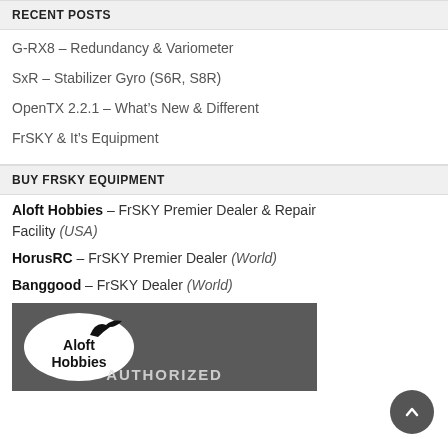RECENT POSTS
G-RX8 – Redundancy & Variometer
SxR – Stabilizer Gyro (S6R, S8R)
OpenTX 2.2.1 – What's New & Different
FrSKY & It's Equipment
BUY FRSKY EQUIPMENT
Aloft Hobbies – FrSKY Premier Dealer & Repair Facility (USA)
HorusRC – FrSKY Premier Dealer (World)
Banggood – FrSKY Dealer (World)
[Figure (photo): Aloft Hobbies authorized dealer sign photo in black and white, showing Aloft Hobbies oval logo with bird and AUTHORIZED text below]